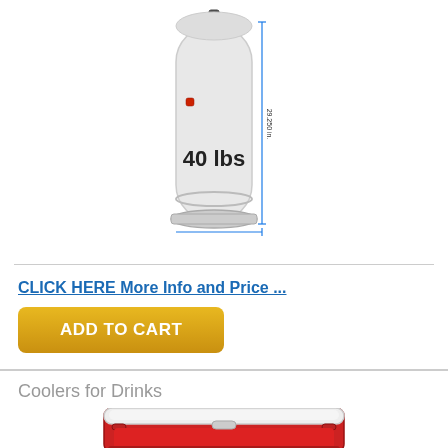[Figure (photo): A white propane tank labeled '40 lbs' with a dimension line showing height approximately 29.250 inches, on a white background.]
CLICK HERE More Info and Price ...
ADD TO CART
Coolers for Drinks
[Figure (photo): A red and white Igloo-style rectangular cooler for drinks, partially visible at bottom of page.]